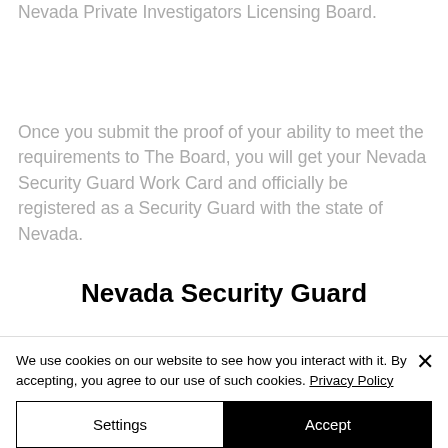Nevada Private Investigators Licensing Board.
Once you submit the proof of your ability to meet the requirements to The Board, you will get your Nevada Security Guard Work Card and officially be registered as a Security Guard with the state of Nevada.
Nevada Security Guard
We use cookies on our website to see how you interact with it. By accepting, you agree to our use of such cookies. Privacy Policy
Settings
Accept